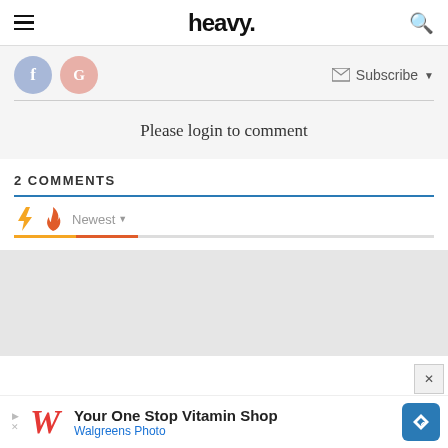heavy.
[Figure (screenshot): Social login buttons: Facebook (blue circle with f) and Google (pink circle with G), and a Subscribe dropdown button with envelope icon]
Please login to comment
2 COMMENTS
[Figure (infographic): Comment sort bar with lightning bolt icon (orange), fire icon (red), and Newest dropdown selector; colored progress bars below]
[Figure (screenshot): Gray placeholder content area for comments]
[Figure (screenshot): Advertisement banner: Your One Stop Vitamin Shop - Walgreens Photo, with Walgreens W logo and blue navigation arrow icon]